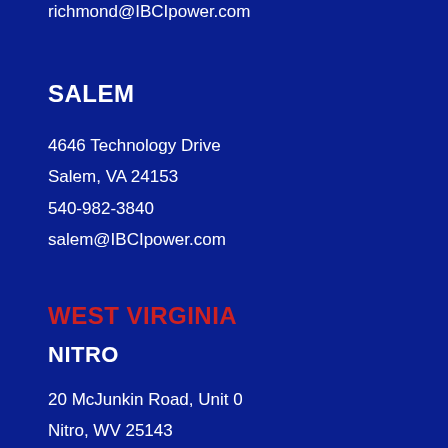richmond@IBCIpower.com
SALEM
4646 Technology Drive
Salem, VA 24153
540-982-3840
salem@IBCIpower.com
WEST VIRGINIA
NITRO
20 McJunkin Road, Unit 0
Nitro, WV 25143
681-217-3033